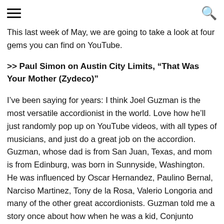[hamburger menu icon] [search icon]
This last week of May, we are going to take a look at four gems you can find on YouTube.
>> Paul Simon on Austin City Limits, “That Was Your Mother (Zydeco)”
I’ve been saying for years: I think Joel Guzman is the most versatile accordionist in the world. Love how he’ll just randomly pop up on YouTube videos, with all types of musicians, and just do a great job on the accordion. Guzman, whose dad is from San Juan, Texas, and mom is from Edinburg, was born in Sunnyside, Washington. He was influenced by Oscar Hernandez, Paulino Bernal, Narciso Martinez, Tony de la Rosa, Valerio Longoria and many of the other great accordionists. Guzman told me a story once about how when he was a kid, Conjunto Bernal was in town